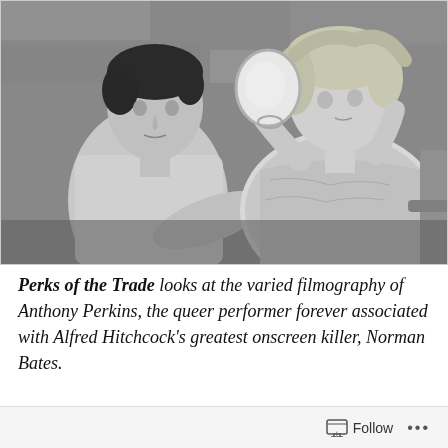[Figure (photo): Black and white photograph of a young man (Anthony Perkins) and a woman, both looking at a handheld mirror. The woman is holding the mirror up, wearing a patterned dress. They appear to be seated outdoors against a stone wall background.]
Perks of the Trade looks at the varied filmography of Anthony Perkins, the queer performer forever associated with Alfred Hitchcock's greatest onscreen killer, Norman Bates.
Follow ...